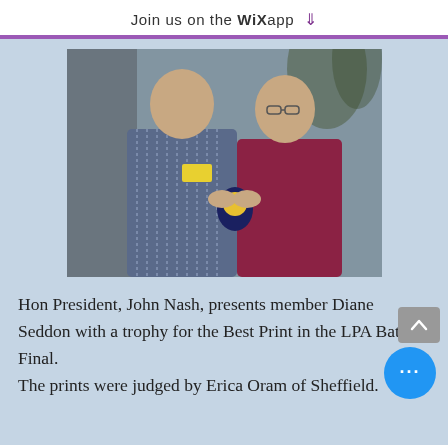Join us on the WiX app
[Figure (photo): Two people (an older man in a striped shirt with a yellow name badge, and a woman in a maroon top) shaking hands and holding a trophy together indoors against a grey textured background.]
Hon President, John Nash, presents member Diane Seddon with a trophy for the Best Print in the LPA Battle Final.
The prints were judged by Erica Oram of Sheffield.